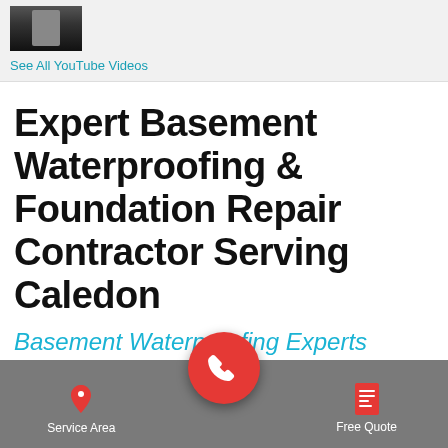[Figure (screenshot): Video thumbnail showing a person, part of a YouTube videos section]
See All YouTube Videos
Expert Basement Waterproofing & Foundation Repair Contractor Serving Caledon
Basement Waterproofing Experts Serving Caledon, ON
Service Area   [phone button]   Free Quote